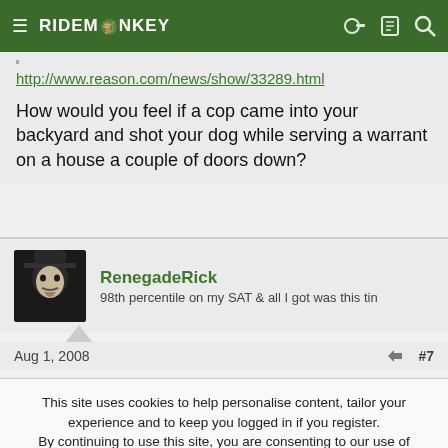RIDEMONKEY
http://www.reason.com/news/show/33289.html
How would you feel if a cop came into your backyard and shot your dog while serving a warrant on a house a couple of doors down?
RenegadeRick
98th percentile on my SAT & all I got was this tin
Aug 1, 2008  #7
This site uses cookies to help personalise content, tailor your experience and to keep you logged in if you register.
By continuing to use this site, you are consenting to our use of cookies.
ACCEPT  LEARN MORE...